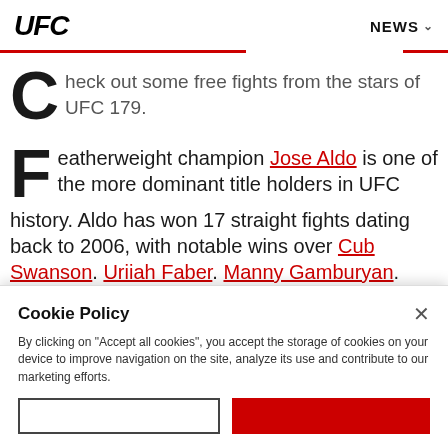UFC | NEWS
Check out some free fights from the stars of UFC 179.
Featherweight champion Jose Aldo is one of the more dominant title holders in UFC history. Aldo has won 17 straight fights dating back to 2006, with notable wins over Cub Swanson, Uriiah Faber, Manny Gamburyan.
Cookie Policy
By clicking on "Accept all cookies", you accept the storage of cookies on your device to improve navigation on the site, analyze its use and contribute to our marketing efforts.